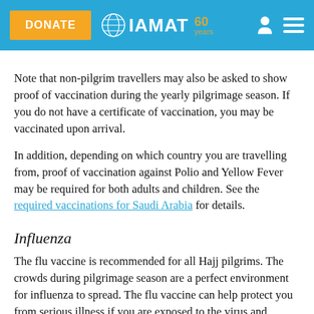DONATE | IAMAT 60 years
Note that non-pilgrim travellers may also be asked to show proof of vaccination during the yearly pilgrimage season. If you do not have a certificate of vaccination, you may be vaccinated upon arrival.
In addition, depending on which country you are travelling from, proof of vaccination against Polio and Yellow Fever may be required for both adults and children. See the required vaccinations for Saudi Arabia for details.
Influenza
The flu vaccine is recommended for all Hajj pilgrims. The crowds during pilgrimage season are a perfect environment for influenza to spread. The flu vaccine can help protect you from serious illness if you are exposed to the virus and prevent you from passing it on to others. Ask your health practitioner if the flu vaccine is currently available in your